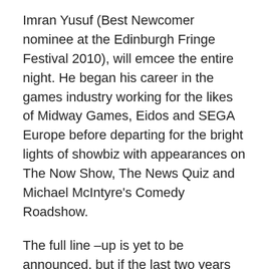Imran Yusuf (Best Newcomer nominee at the Edinburgh Fringe Festival 2010), will emcee the entire night. He began his career in the games industry working for the likes of Midway Games, Eidos and SEGA Europe before departing for the bright lights of showbiz with appearances on The Now Show, The News Quiz and Michael McIntyre's Comedy Roadshow.
The full line –up is yet to be announced, but if the last two years are anything to go by, the bill should be nothing short of spectacular and the night is expected to again sell-out in record time.
Tickets stand at £12.50 per person and all proceeds will go towards GamesAid, a organization that harnesses the fundraising potential of the games industry, making yearly